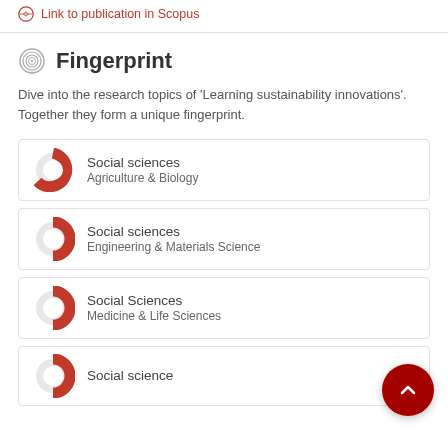Link to publication in Scopus
Fingerprint
Dive into the research topics of 'Learning sustainability innovations'. Together they form a unique fingerprint.
[Figure (infographic): Donut chart badge for Social sciences / Agriculture & Biology, ~80% fill]
Social sciences
Agriculture & Biology
[Figure (infographic): Donut chart badge for Social sciences / Engineering & Materials Science, ~50% fill]
Social sciences
Engineering & Materials Science
[Figure (infographic): Donut chart badge for Social Sciences / Medicine & Life Sciences, ~50% fill]
Social Sciences
Medicine & Life Sciences
[Figure (infographic): Donut chart badge for Social science / Earth & Environmental Science, partially visible]
Social science
Earth & Environmental Science